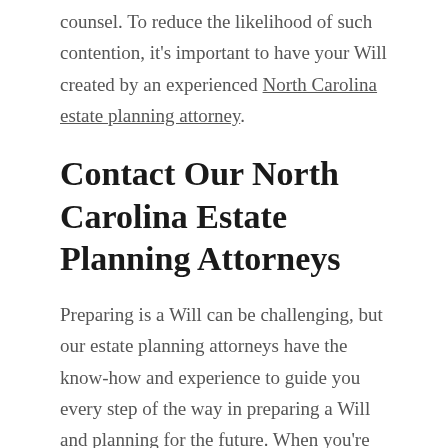counsel. To reduce the likelihood of such contention, it's important to have your Will created by an experienced North Carolina estate planning attorney.
Contact Our North Carolina Estate Planning Attorneys
Preparing is a Will can be challenging, but our estate planning attorneys have the know-how and experience to guide you every step of the way in preparing a Will and planning for the future. When you're